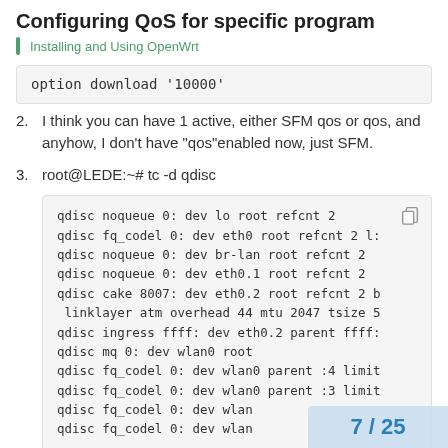Configuring QoS for specific program
Installing and Using OpenWrt
[Figure (screenshot): Code block showing: option download '10000']
2. I think you can have 1 active, either SFM qos or qos, and anyhow, I don't have "qos"enabled now, just SFM.
3. root@LEDE:~# tc -d qdisc
[Figure (screenshot): Terminal output showing qdisc entries: qdisc noqueue 0: dev lo root refcnt 2, qdisc fq_codel 0: dev eth0 root refcnt 2 l:, qdisc noqueue 0: dev br-lan root refcnt 2, qdisc noqueue 0: dev eth0.1 root refcnt 2, qdisc cake 8007: dev eth0.2 root refcnt 2 b, linklayer atm overhead 44 mtu 2047 tsize 5, qdisc ingress ffff: dev eth0.2 parent ffff:, qdisc mq 0: dev wlan0 root, qdisc fq_codel 0: dev wlan0 parent :4 limit, qdisc fq_codel 0: dev wlan0 parent :3 limit, qdisc fq_codel 0: dev wlan (truncated), qdisc fq_codel 0: dev wlan (truncated)]
7 / 25